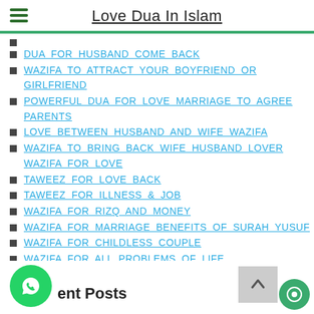Love Dua In Islam
DUA FOR HUSBAND COME BACK
WAZIFA TO ATTRACT YOUR BOYFRIEND OR GIRLFRIEND
POWERFUL DUA FOR LOVE MARRIAGE TO AGREE PARENTS
LOVE BETWEEN HUSBAND AND WIFE WAZIFA
WAZIFA TO BRING BACK WIFE HUSBAND LOVER WAZIFA FOR LOVE
TAWEEZ FOR LOVE BACK
TAWEEZ FOR ILLNESS & JOB
WAZIFA FOR RIZQ AND MONEY
WAZIFA FOR MARRIAGE BENEFITS OF SURAH YUSUF
WAZIFA FOR CHILDLESS COUPLE
WAZIFA FOR ALL PROBLEMS OF LIFE
ent Posts